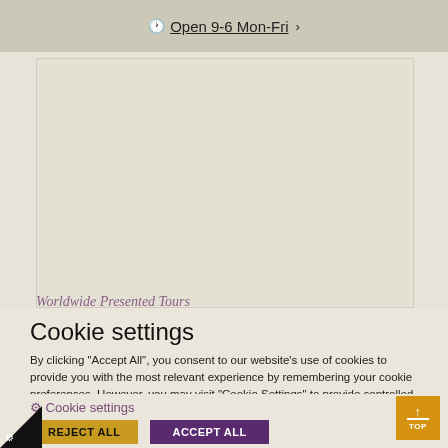Open 9-6 Mon-Fri
Worldwide Presented Tours
Cookie settings
By clicking "Accept All", you consent to our website's use of cookies to provide you with the most relevant experience by remembering your cookie preferences. However, you may visit "Cookie Settings" to provide controlled consent Read our cookie policy.
Cookie settings
REJECT ALL
ACCEPT ALL